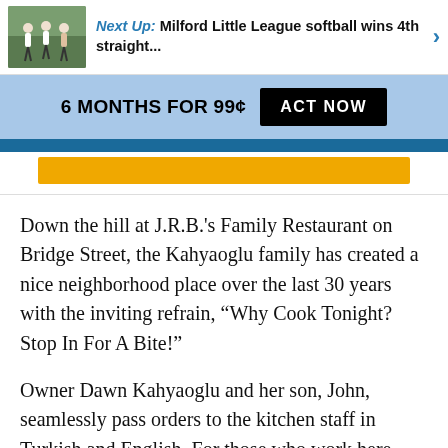Next Up: Milford Little League softball wins 4th straight...
[Figure (infographic): Subscription promotion banner: 6 MONTHS FOR 99¢ with ACT NOW button on blue background]
Down the hill at J.R.B.'s Family Restaurant on Bridge Street, the Kahyaoglu family has created a nice neighborhood place over the last 30 years with the inviting refrain, “Why Cook Tonight? Stop In For A Bite!”
Owner Dawn Kahyaoglu and her son, John, seamlessly pass orders to the kitchen staff in Turkish and English. For those who work here